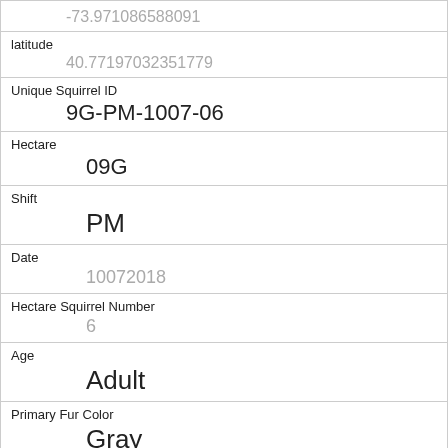| Field | Value |
| --- | --- |
| longitude (partial) | -73.971086588091 |
| latitude | 40.77197032351779 |
| Unique Squirrel ID | 9G-PM-1007-06 |
| Hectare | 09G |
| Shift | PM |
| Date | 10072018 |
| Hectare Squirrel Number | 6 |
| Age | Adult |
| Primary Fur Color | Gray |
| Highlight Fur Color |  |
| Combination of Primary and Highlight Color |  |